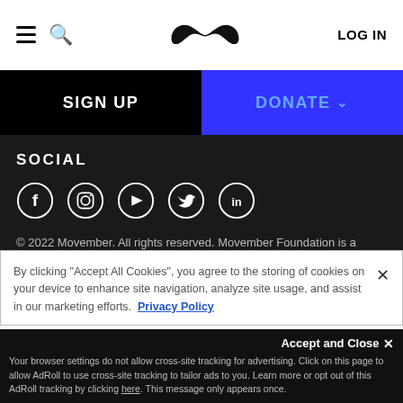≡ 🔍 [Movember Logo] LOG IN
SIGN UP
DONATE ∨
SOCIAL
[Figure (other): Social media icons: Facebook, Instagram, YouTube, Twitter, LinkedIn]
© 2022 Movember. All rights reserved. Movember Foundation is a registered charity in Australia ABN 48894537905.
By clicking "Accept All Cookies", you agree to the storing of cookies on your device to enhance site navigation, analyze site usage, and assist in our marketing efforts. Privacy Policy
Accept and Close ✕
Your browser settings do not allow cross-site tracking for advertising. Click on this page to allow AdRoll to use cross-site tracking to tailor ads to you. Learn more or opt out of this AdRoll tracking by clicking here. This message only appears once.